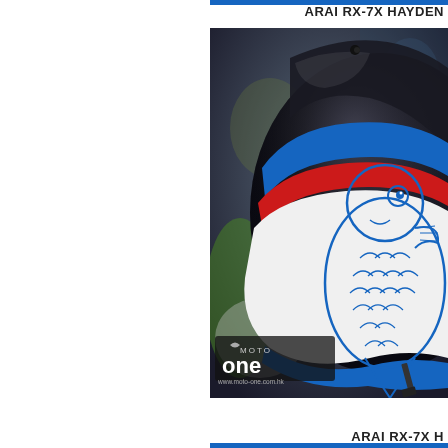ARAI RX-7X HAYDEN
[Figure (photo): Close-up photo of an Arai RX-7X Hayden motorcycle helmet featuring a koi fish graphic design in blue, red, and white colors. The helmet has a glossy black shell with blue and red stripe accents and a detailed white koi fish illustration. A Moto One watermark and www.moto-one.com.hk URL are visible in the lower left of the image.]
ARAI RX-7X H